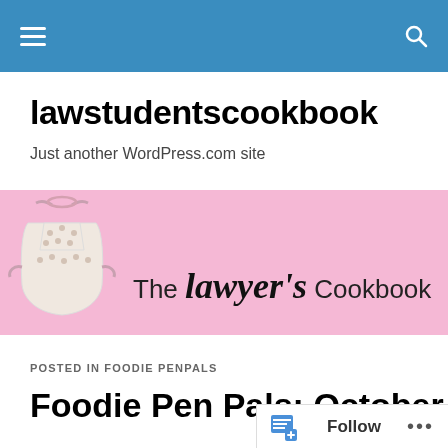lawstudentscookbook
Just another WordPress.com site
[Figure (logo): The Lawyer's Cookbook banner: pink background with an illustrated apron dress on the left and the text 'The lawyer's Cookbook' in large mixed typography]
POSTED IN FOODIE PENPALS
Foodie Pen Pals: October